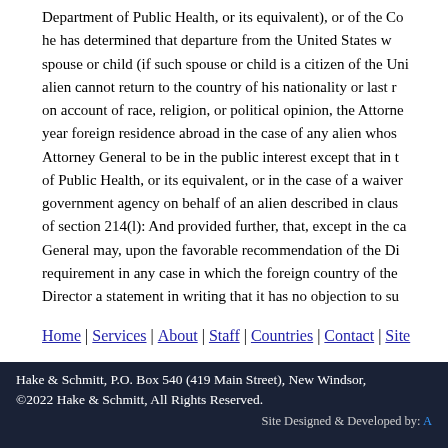Department of Public Health, or its equivalent), or of the Co he has determined that departure from the United States w spouse or child (if such spouse or child is a citizen of the Uni alien cannot return to the country of his nationality or last r on account of race, religion, or political opinion, the Attorne year foreign residence abroad in the case of any alien whos Attorney General to be in the public interest except that in t of Public Health, or its equivalent, or in the case of a waiver government agency on behalf of an alien described in claus of section 214(l): And provided further, that, except in the ca General may, upon the favorable recommendation of the Di requirement in any case in which the foreign country of the Director a statement in writing that it has no objection to su
Home | Services | About | Staff | Countries | Contact | Site
Hake & Schmitt, P.O. Box 540 (419 Main Street), New Windsor, ©2022 Hake & Schmitt, All Rights Reserved. Site Designed & Developed by: A